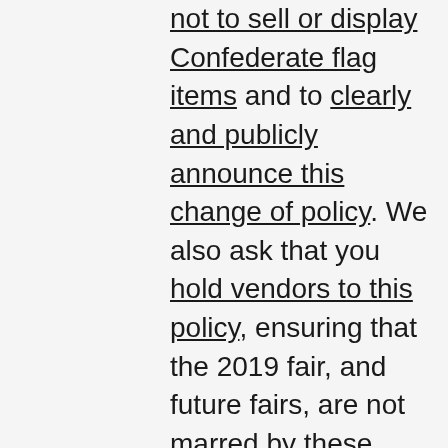not to sell or display Confederate flag items and to clearly and publicly announce this change of policy. We also ask that you hold vendors to this policy, ensuring that the 2019 fair, and future fairs, are not marred by these flags.
The Confederate flag is a rallying symbol for violent white supremacists and hate groups. It sends a hostile and intimidating message to people of color who visit the fair, and spreads the impression that our county is racist and backward. The Confederate flag is no longer sold at Walmart or Amazon, nor is it allowed to be sold at the New York State Fair. Several New York county fairs have already banned the sale of these